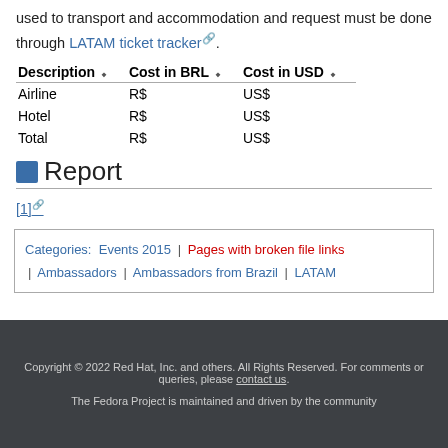used to transport and accommodation and request must be done through LATAM ticket tracker.
| Description | Cost in BRL | Cost in USD |
| --- | --- | --- |
| Airline | R$ | US$ |
| Hotel | R$ | US$ |
| Total | R$ | US$ |
Report
[1]
Categories: Events 2015 | Pages with broken file links | Ambassadors | Ambassadors from Brazil | LATAM
Copyright © 2022 Red Hat, Inc. and others. All Rights Reserved. For comments or queries, please contact us. The Fedora Project is maintained and driven by the community